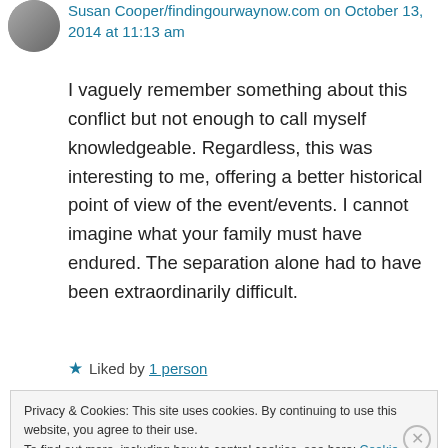Susan Cooper/findingourwaynow.com on October 13, 2014 at 11:13 am
I vaguely remember something about this conflict but not enough to call myself knowledgeable. Regardless, this was interesting to me, offering a better historical point of view of the event/events. I cannot imagine what your family must have endured. The separation alone had to have been extraordinarily difficult.
★ Liked by 1 person
Privacy & Cookies: This site uses cookies. By continuing to use this website, you agree to their use. To find out more, including how to control cookies, see here: Cookie Policy
Close and accept